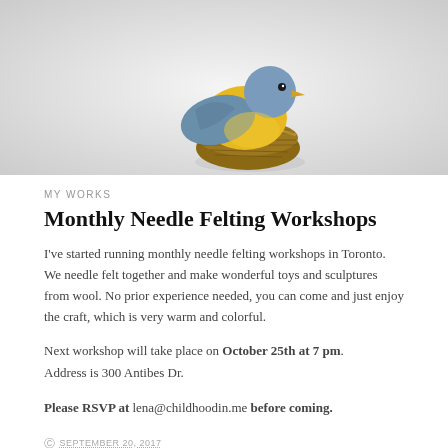[Figure (photo): A needle-felted bird with blue and yellow wool body sitting in a small woven grass nest, photographed against a white/light grey background.]
MY WORKS
Monthly Needle Felting Workshops
I've started running monthly needle felting workshops in Toronto. We needle felt together and make wonderful toys and sculptures from wool. No prior experience needed, you can come and just enjoy the craft, which is very warm and colorful.
Next workshop will take place on October 25th at 7 pm. Address is 300 Antibes Dr.
Please RSVP at lena@childhoodin.me before coming.
SEPTEMBER 20, 2017